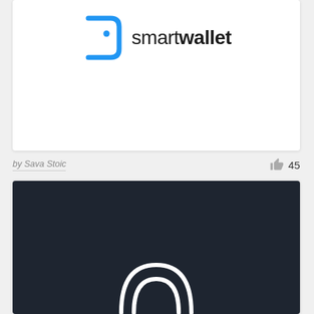[Figure (logo): smartwallet logo: blue rounded square bracket icon on the left, text 'smart' in regular weight and 'wallet' in bold weight on the right, dark color]
by Sava Stoic
45
[Figure (logo): Dark navy background card with a white arc/dome logo shape at the bottom center, partially visible]